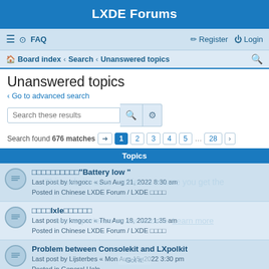LXDE Forums
☰  FAQ    Register  Login
Board index · Search · Unanswered topics
Unanswered topics
‹ Go to advanced search
Search these results
Search found 676 matches  1 2 3 4 5 … 28
Topics
□□□□□□□□□□"Battery low "
Last post by kmgocc « Sun Aug 21, 2022 8:30 am
Posted in Chinese LXDE Forum / LXDE □□□□
□□□□lxle□□□□□□
Last post by kmgocc « Thu Aug 18, 2022 1:35 am
Posted in Chinese LXDE Forum / LXDE □□□□
Problem between Consolekit and LXpolkit
Last post by Lijsterbes « Mon Aug 15, 2022 3:30 pm
Posted in General Help
wiki.lxde.org is down